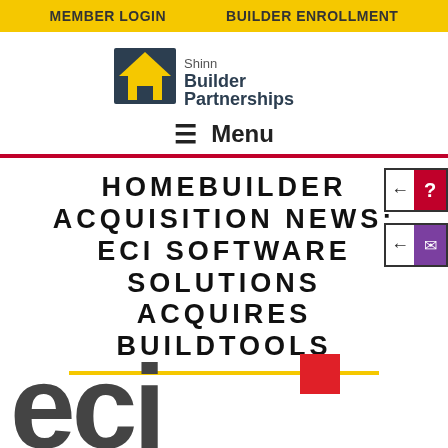MEMBER LOGIN   BUILDER ENROLLMENT
[Figure (logo): Shinn Builder Partnerships logo with house icon and text]
≡  Menu
HOMEBUILDER ACQUISITION NEWS: ECI SOFTWARE SOLUTIONS ACQUIRES BUILDTOOLS
[Figure (logo): ECI logo in dark grey with red square accent, large letters 'eci' partially visible at bottom of page]